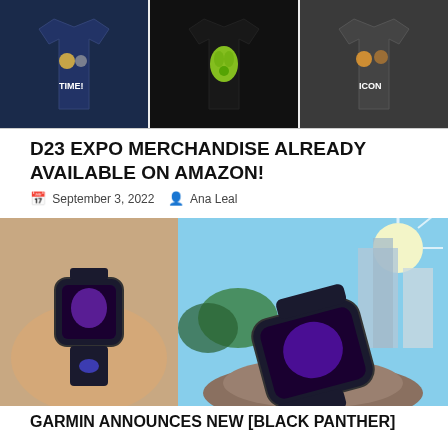[Figure (photo): Three t-shirts shown side by side: a navy shirt with characters and 'TIME!', a black shirt with green graphic, and a dark grey shirt with characters and 'ICON']
D23 EXPO MERCHANDISE ALREADY AVAILABLE ON AMAZON!
September 3, 2022  Ana Leal
[Figure (photo): Two side-by-side photos of a Black Panther branded Garmin smartwatch: left shows watch worn on a wrist, right shows watch resting on a rock outdoors with city buildings in background]
GARMIN ANNOUNCES NEW [BLACK PANTHER]